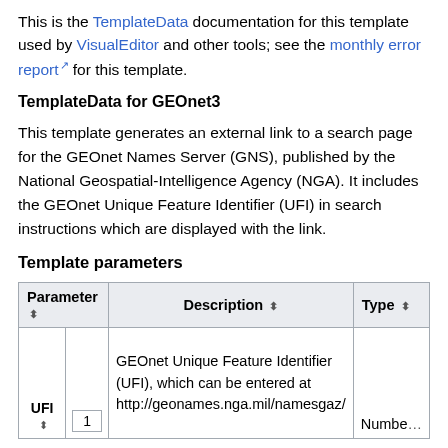This is the TemplateData documentation for this template used by VisualEditor and other tools; see the monthly error report for this template.
TemplateData for GEOnet3
This template generates an external link to a search page for the GEOnet Names Server (GNS), published by the National Geospatial-Intelligence Agency (NGA). It includes the GEOnet Unique Feature Identifier (UFI) in search instructions which are displayed with the link.
Template parameters
| Parameter | Description | Type |
| --- | --- | --- |
| UFI | GEOnet Unique Feature Identifier (UFI), which can be entered at http://geonames.nga.mil/namesgaz/ | Numbe... |